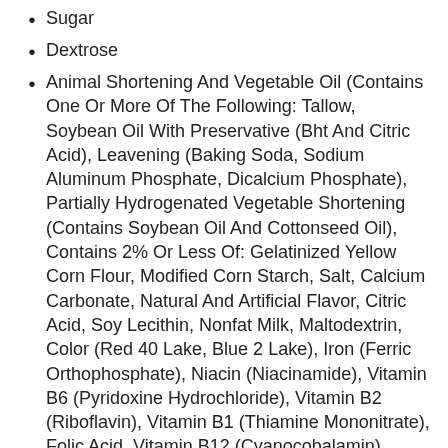Sugar
Dextrose
Animal Shortening And Vegetable Oil (Contains One Or More Of The Following: Tallow, Soybean Oil With Preservative (Bht And Citric Acid), Leavening (Baking Soda, Sodium Aluminum Phosphate, Dicalcium Phosphate), Partially Hydrogenated Vegetable Shortening (Contains Soybean Oil And Cottonseed Oil), Contains 2% Or Less Of: Gelatinized Yellow Corn Flour, Modified Corn Starch, Salt, Calcium Carbonate, Natural And Artificial Flavor, Citric Acid, Soy Lecithin, Nonfat Milk, Maltodextrin, Color (Red 40 Lake, Blue 2 Lake), Iron (Ferric Orthophosphate), Niacin (Niacinamide), Vitamin B6 (Pyridoxine Hydrochloride), Vitamin B2 (Riboflavin), Vitamin B1 (Thiamine Mononitrate), Folic Acid, Vitamin B12 (Cyanocobalamin)